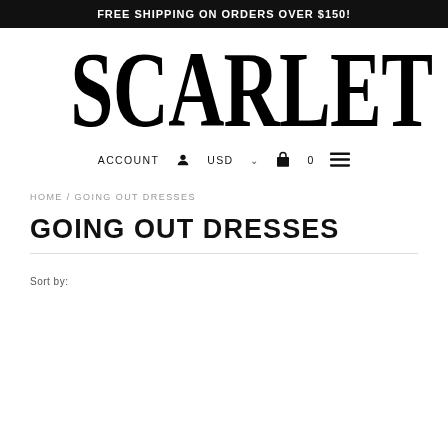FREE SHIPPING ON ORDERS OVER $150!
SCARLET
ACCOUNT  USD  0
HOME / GOING OUT DRESSES
GOING OUT DRESSES
Sort by: